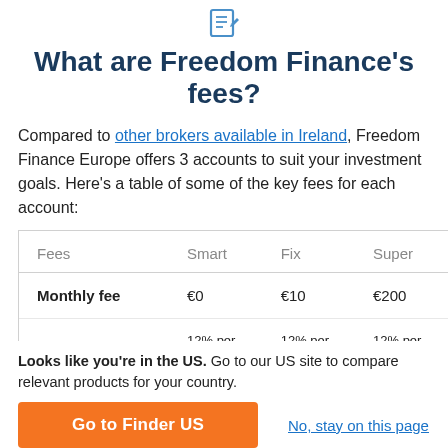[Figure (illustration): Blue edit/document icon at top center]
What are Freedom Finance's fees?
Compared to other brokers available in Ireland, Freedom Finance Europe offers 3 accounts to suit your investment goals. Here's a table of some of the key fees for each account:
| Fees | Smart | Fix | Super |
| --- | --- | --- | --- |
| Monthly fee | €0 | €10 | €200 |
| ... | 12% per year... | 12% per year... | 12% per year... |
Looks like you're in the US. Go to our US site to compare relevant products for your country.
Go to Finder US
No, stay on this page